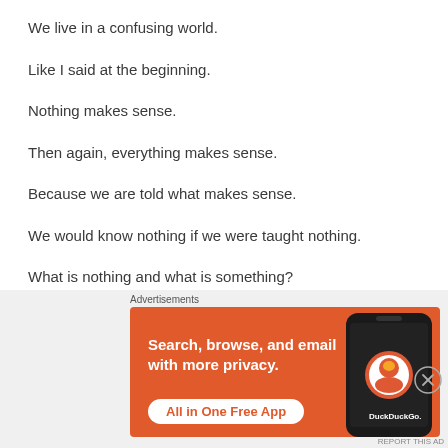We live in a confusing world.
Like I said at the beginning.
Nothing makes sense.
Then again, everything makes sense.
Because we are told what makes sense.
We would know nothing if we were taught nothing.
What is nothing and what is something?
[Figure (infographic): DuckDuckGo advertisement banner with orange background. Text reads: Search, browse, and email with more privacy. All in One Free App. Shows a smartphone with DuckDuckGo logo.]